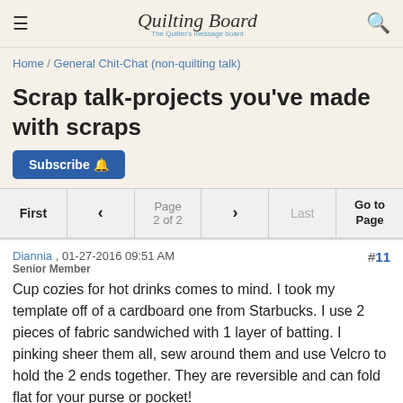Quilting Board — The Quilter's message board
Home / General Chit-Chat (non-quilting talk)
Scrap talk-projects you've made with scraps
Subscribe
First < Page 2 of 2 > Last Go to Page
Diannia , 01-27-2016 09:51 AM
Senior Member
#11
Cup cozies for hot drinks comes to mind. I took my template off of a cardboard one from Starbucks. I use 2 pieces of fabric sandwiched with 1 layer of batting. I pinking sheer them all, sew around them and use Velcro to hold the 2 ends together. They are reversible and can fold flat for your purse or pocket!